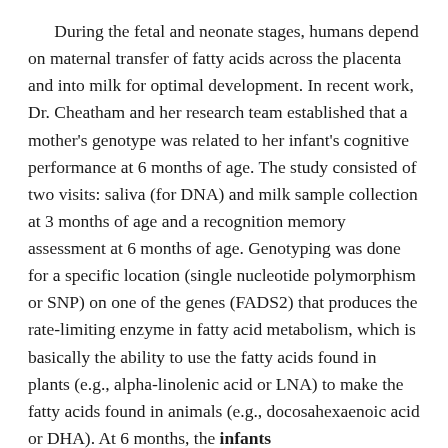During the fetal and neonate stages, humans depend on maternal transfer of fatty acids across the placenta and into milk for optimal development. In recent work, Dr. Cheatham and her research team established that a mother's genotype was related to her infant's cognitive performance at 6 months of age. The study consisted of two visits: saliva (for DNA) and milk sample collection at 3 months of age and a recognition memory assessment at 6 months of age. Genotyping was done for a specific location (single nucleotide polymorphism or SNP) on one of the genes (FADS2) that produces the rate-limiting enzyme in fatty acid metabolism, which is basically the ability to use the fatty acids found in plants (e.g., alpha-linolenic acid or LNA) to make the fatty acids found in animals (e.g., docosahexaenoic acid or DHA). At 6 months, the infants